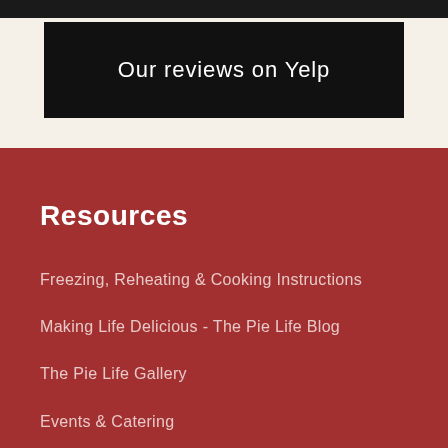Our reviews on Yelp
Resources
Freezing, Reheating & Cooking Instructions
Making Life Delicious - The Pie Life Blog
The Pie Life Gallery
Events & Catering